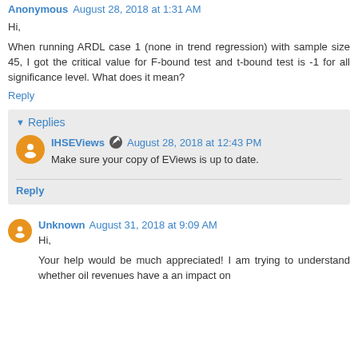Anonymous August 28, 2018 at 1:31 AM
Hi,
When running ARDL case 1 (none in trend regression) with sample size 45, I got the critical value for F-bound test and t-bound test is -1 for all significance level. What does it mean?
Reply
Replies
IHSEViews August 28, 2018 at 12:43 PM
Make sure your copy of EViews is up to date.
Reply
Unknown August 31, 2018 at 9:09 AM
Hi,
Your help would be much appreciated! I am trying to understand whether oil revenues have a an impact on